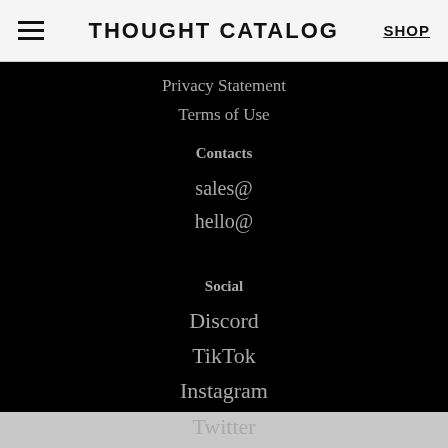THOUGHT CATALOG | SHOP
Privacy Statement
Terms of Use
Contacts
sales@
hello@
Social
Discord
TikTok
Instagram
Twitter
YouTube
Facebook